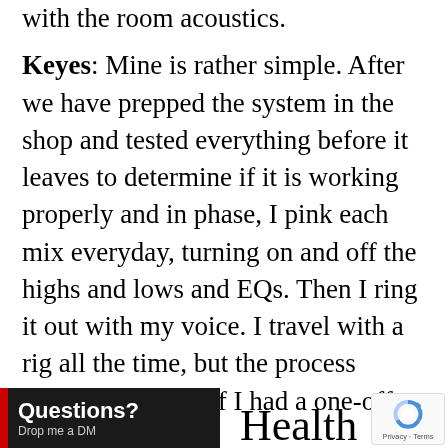with the room acoustics.
Keyes: Mine is rather simple. After we have prepped the system in the shop and tested everything before it leaves to determine if it is working properly and in phase, I pink each mix everyday, turning on and off the highs and lows and EQs. Then I ring it out with my voice. I travel with a rig all the time, but the process would be similar if I had a one-off rig.
[Figure (other): Questions? Drop me a DM — dark bar with red stripe on left]
Health
[Figure (other): Google reCAPTCHA badge with Privacy and Terms links]